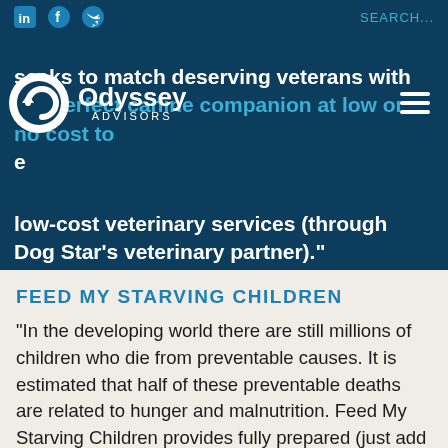seeks to match deserving veterans with the perfect canine companion at low or no cost to also provide training and low-cost veterinary services (through Dog Star's veterinary partner)."
FEED MY STARVING CHILDREN
“In the developing world there are still millions of children who die from preventable causes. It is estimated that half of these preventable deaths are related to hunger and malnutrition. Feed My Starving Children provides fully prepared (just add water) meals to children around the world. No volunteers are too old